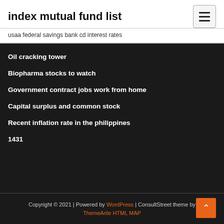index mutual fund list
usaa federal savings bank cd interest rates
Oil cracking tower
Biopharma stocks to watch
Government contract jobs work from home
Capital surplus and common stock
Recent inflation rate in the philippines
1431
Copyright © 2021 | Powered by WordPress | ConsultStreet theme by ThemeArile HTML MAP